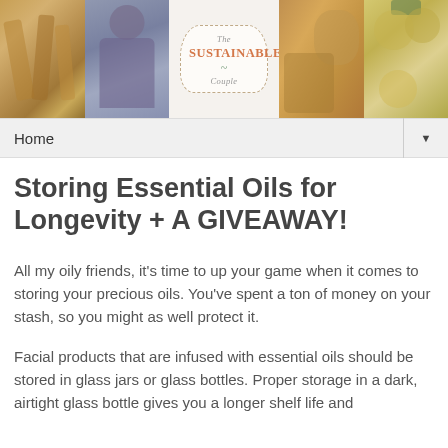[Figure (photo): Banner header for 'The Sustainable Couple' blog showing five panels: parsnips/carrots, a man in a hoodie, a logo badge with the blog name, a woman holding a chicken, and hanging onions/garlic.]
Home ▼
Storing Essential Oils for Longevity + A GIVEAWAY!
All my oily friends, it's time to up your game when it comes to storing your precious oils. You've spent a ton of money on your stash, so you might as well protect it.
Facial products that are infused with essential oils should be stored in glass jars or glass bottles. Proper storage in a dark, airtight glass bottle gives you a longer shelf life and